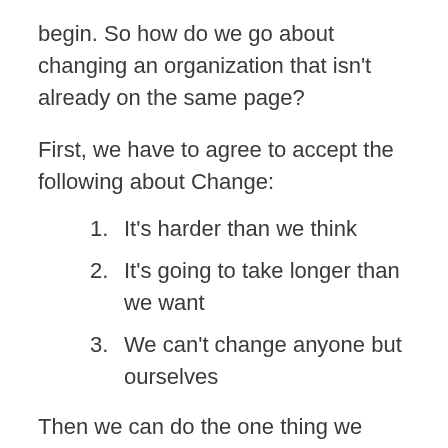begin. So how do we go about changing an organization that isn't already on the same page?
First, we have to agree to accept the following about Change:
It's harder than we think
It's going to take longer than we want
We can't change anyone but ourselves
Then we can do the one thing we have available, start with a small step and start with ourselves.
If you're familiar with DevOps you may have seen the Three Ways of DevOps. If you aren't, open